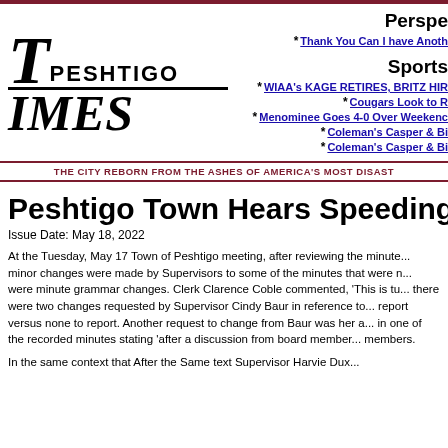[Figure (logo): Peshtigo Times newspaper logo with large italic T and IMES text]
Perspective
* Thank You Can I have Anoth...
Sports
* WIAA's KAGE RETIRES, BRITZ HIR...
* Cougars Look to R...
* Menominee Goes 4-0 Over Weekend...
* Coleman's Casper & Bi...
* Coleman's Casper & Bi...
THE CITY REBORN FROM THE ASHES OF AMERICA'S MOST DISAST...
Peshtigo Town Hears Speeding Com...
Issue Date: May 18, 2022
At the Tuesday, May 17 Town of Peshtigo meeting, after reviewing the minute... minor changes were made by Supervisors to some of the minutes that were m... were minute grammar changes. Clerk Clarence Coble commented, 'This is tu... there were two changes requested by Supervisor Cindy Baur in reference to... report versus none to report. Another request to change from Baur was her a... in one of the recorded minutes stating 'after a discussion from board member... members.